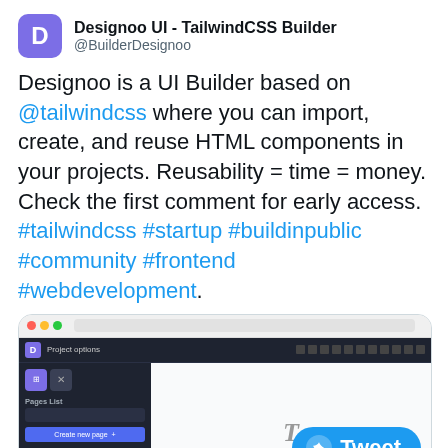Designoo UI - TailwindCSS Builder @BuilderDesignoo
Designoo is a UI Builder based on @tailwindcss where you can import, create, and reuse HTML components in your projects. Reusability = time = money. Check the first comment for early access. #tailwindcss #startup #buildinpublic #community #frontend #webdevelopment.
[Figure (screenshot): Screenshot of the Designoo UI Builder application showing a dark sidebar with Pages List and Blocks List panels, and a light main content area with a text cursor icon.]